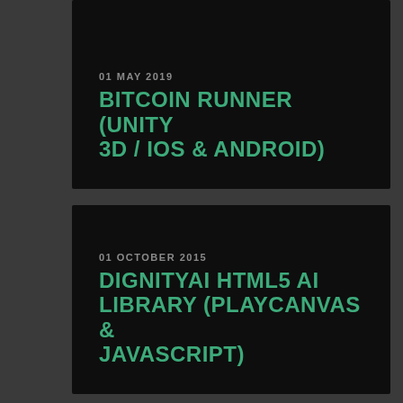01 MAY 2019
BITCOIN RUNNER (UNITY 3D / IOS & ANDROID)
01 OCTOBER 2015
DIGNITYAI HTML5 AI LIBRARY (PLAYCANVAS & JAVASCRIPT)